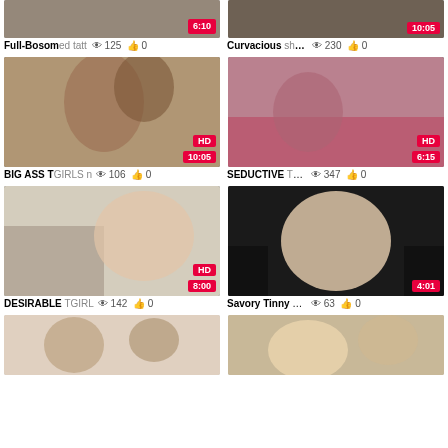[Figure (screenshot): Adult video thumbnail grid showing partial top row, two full rows of video cards with thumbnails, duration badges, HD badges, view counts and like counts]
Full-Bosomed tatt 125 views 0 likes | Curvacious shema 230 views 0 likes
[Figure (photo): BIG ASS TGIRLS thumbnail HD 10:05]
[Figure (photo): SEDUCTIVE TS thumbnail HD 6:15]
BIG ASS TGIRLS n 106 views 0 likes | SEDUCTIVE TS ma 347 views 0 likes
[Figure (photo): DESIRABLE TGIRL thumbnail HD 8:00]
[Figure (photo): Savory Tinny Tgirl thumbnail 4:01]
DESIRABLE TGIRL 142 views 0 likes | Savory Tinny Tgirl 63 views 0 likes
[Figure (photo): Bottom left video thumbnail partial]
[Figure (photo): Bottom right video thumbnail partial]